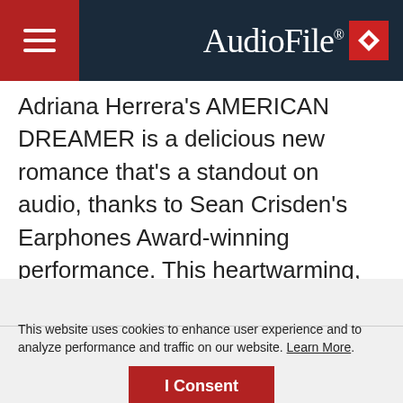AudioFile
Adriana Herrera's AMERICAN DREAMER is a delicious new romance that's a standout on audio, thanks to Sean Crisden's Earphones Award-winning performance. This heartwarming, awkward,
This website uses cookies to enhance user experience and to analyze performance and traffic on our website. Learn More.
I Consent